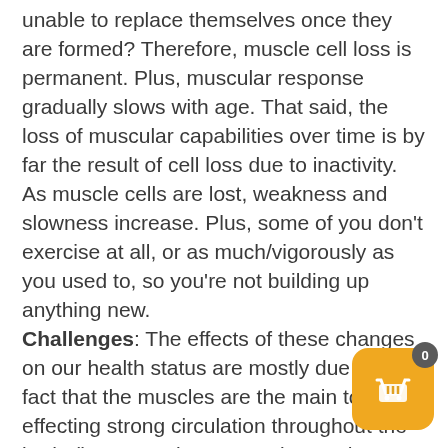unable to replace themselves once they are formed? Therefore, muscle cell loss is permanent. Plus, muscular response gradually slows with age. That said, the loss of muscular capabilities over time is by far the result of cell loss due to inactivity. As muscle cells are lost, weakness and slowness increase. Plus, some of you don't exercise at all, or as much/vigorously as you used to, so you're not building up anything new. Challenges: The effects of these changes on our health status are mostly due to the fact that the muscles are the main tools for effecting strong circulation throughout the body (i.e. muscular contraction pushes blood around). As the muscles become smaller, including the muscles in the face, and as fat tissue accumulates, including in the face, the entire appearance changes to that of an older person, with all the ramifications described in the post on the description of skin changes